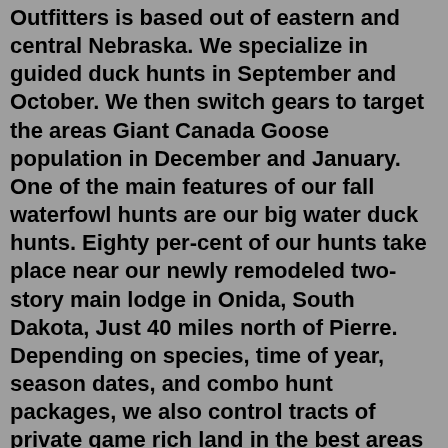Outfitters is based out of eastern and central Nebraska. We specialize in guided duck hunts in September and October. We then switch gears to target the areas Giant Canada Goose population in December and January. One of the main features of our fall waterfowl hunts are our big water duck hunts. Eighty per-cent of our hunts take place near our newly remodeled two-story main lodge in Onida, South Dakota, Just 40 miles north of Pierre. Depending on species, time of year, season dates, and combo hunt packages, we also control tracts of private game rich land in the best areas of the state. At South Dakota hunting service, we take the hunters to the game!. Located in the heart of South Dakota pheasant country, the Signature Lodge is operated by High Adventure Company. The perfect mix of agriculture crops, native warm-season grass, and shelterbelts provide ideal habitat for one of the most popular game birds in the country, the ringneck pheasant. Over 40,000 square feet, the Signature Lodge is an. Those shells will make a great Valentine's